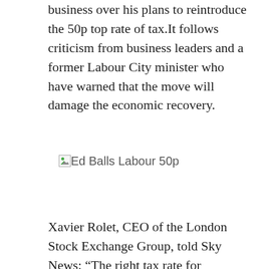business over his plans to reintroduce the 50p top rate of tax.It follows criticism from business leaders and a former Labour City minister who have warned that the move will damage the economic recovery.
[Figure (photo): Broken image placeholder with alt text 'Ed Balls Labour 50p']
Xavier Rolet, CEO of the London Stock Exchange Group, told Sky News: “The right tax rate for entrepreneurs is what motivates investments.
“There are worries and certainly concerns that